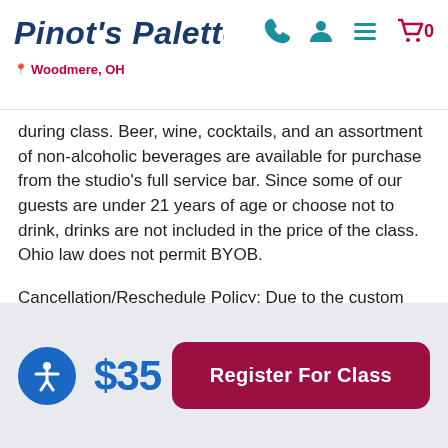Pinot's Palette — Woodmere, OH
during class. Beer, wine, cocktails, and an assortment of non-alcoholic beverages are available for purchase from the studio's full service bar. Since some of our guests are under 21 years of age or choose not to drink, drinks are not included in the price of the class. Ohio law does not permit BYOB.
Cancellation/Reschedule Policy: Due to the custom nature of our events, refunds are not issued for reservation cancellations. Should you need to reschedule your reservation and provide at least 24 hours written notice
$35
Register For Class